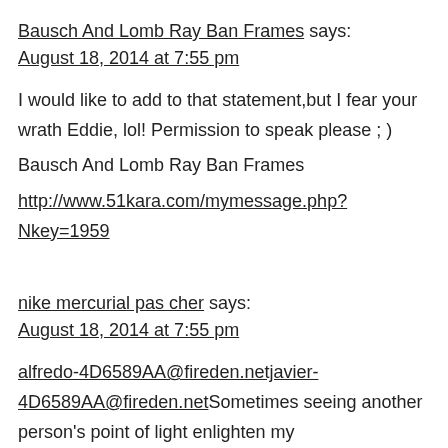Bausch And Lomb Ray Ban Frames says:
August 18, 2014 at 7:55 pm
I would like to add to that statement,but I fear your wrath Eddie, lol! Permission to speak please ; )
Bausch And Lomb Ray Ban Frames
http://www.51kara.com/mymessage.php?Nkey=1959
nike mercurial pas cher says:
August 18, 2014 at 7:55 pm
alfredo-4D6589AA@fireden.netjavier-4D6589AA@fireden.netSometimes seeing another person's point of light enlighten my